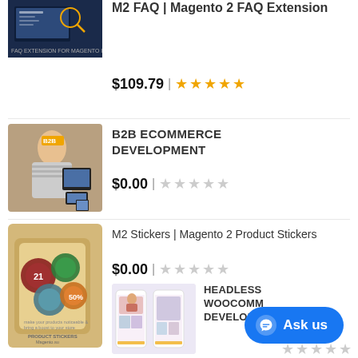[Figure (screenshot): M2 FAQ Magento 2 extension product screenshot - dark blue interface]
M2 FAQ | Magento 2 FAQ Extension
$109.79 | ★★★★★
[Figure (photo): B2B Ecommerce Development - woman with devices]
B2B ECOMMERCE DEVELOPMENT
$0.00 | ☆☆☆☆☆
[Figure (photo): M2 Stickers - Magento 2 Product Stickers box]
M2 Stickers | Magento 2 Product Stickers
$0.00 | ☆☆☆☆☆
[Figure (screenshot): Headless WooCommerce Development - mobile app screenshot]
HEADLESS WOOCOMM DEVELOPM
Ask us